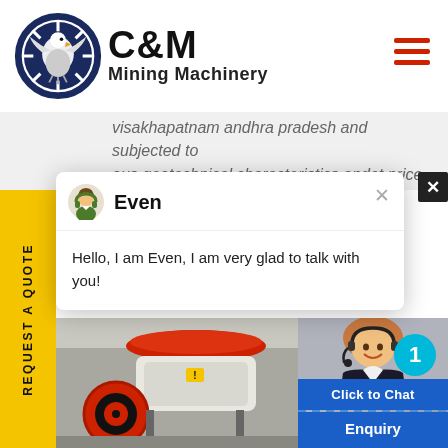[Figure (logo): C&M Mining Machinery logo with eagle/gear icon in navy blue circle and bold text]
visakhapatnam andhra pradesh and subjected to ous geotechnical characteristics andet price.
[Figure (screenshot): Chat popup from 'Even' saying 'Hello, I am Even, I am very glad to talk with you!' with avatar and close button]
[Figure (photo): Industrial mining machinery in a factory/workshop setting]
[Figure (photo): Customer service woman wearing headset smiling, with blue 'Click to Chat' button and 'Enquiry' label, badge showing number 1]
REQUEST A QUOTE